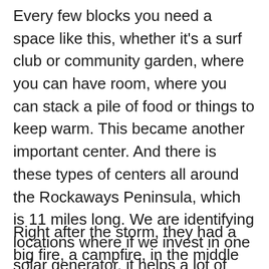Every few blocks you need a space like this, whether it's a surf club or community garden, where you can have room, where you can stack a pile of food or things to keep warm. This became another important center. And there is these types of centers all around the Rockaways Peninsula, which is 11 miles long. We are identifying locations where if we invest in one solar generator, it helps a lot of people. You get the most bang for the buck.
Right after the storm, they had a big fire, a campfire, in the middle here on the sidewalk in